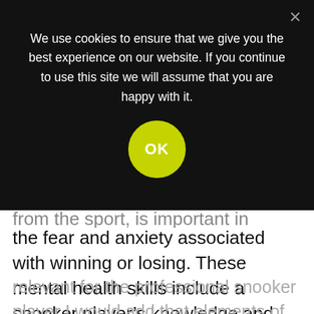[Figure (screenshot): Cookie consent overlay banner with dark semi-transparent background. Text reads: 'We use cookies to ensure that we give you the best experience on our website. If you continue to use this site we will assume that you are happy with it.' A yellow-green circular OK button is centered below the text. A close X button is in the top-right corner.]
from the sport, is important in reducing the fear and anxiety associated with winning or losing. These mental health skills include a snooker player's knowledge and development of snooker, their experiences, and most of all evaluating their experiences from a reflexive point of view. Though there are many other determinants that are relevant for the professional snooker player I would add that elements of this